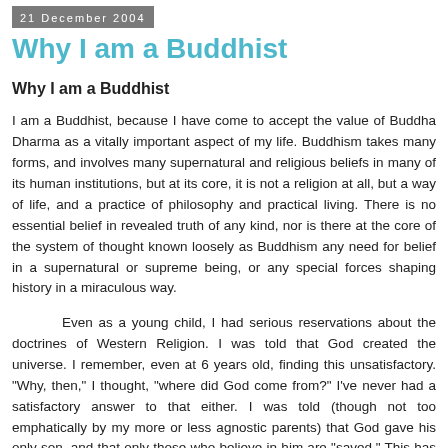21 December 2004
Why I am a Buddhist
Why I am a Buddhist
I am a Buddhist, because I have come to accept the value of Buddha Dharma as a vitally important aspect of my life. Buddhism takes many forms, and involves many supernatural and religious beliefs in many of its human institutions, but at its core, it is not a religion at all, but a way of life, and a practice of philosophy and practical living. There is no essential belief in revealed truth of any kind, nor is there at the core of the system of thought known loosely as Buddhism any need for belief in a supernatural or supreme being, or any special forces shaping history in a miraculous way.
	Even as a young child, I had serious reservations about the doctrines of Western Religion. I was told that God created the universe. I remember, even at 6 years old, finding this unsatisfactory. "Why, then," I thought, "where did God come from?" I've never had a satisfactory answer to that either. I was told (though not too emphatically by my more or less agnostic parents) that God gave his only son, and that only those who believe in him are "saved." This has just never seemed believable to me. I apologize to Christians reading this who are offended or who must condescend to pity me. But I don't ask for your